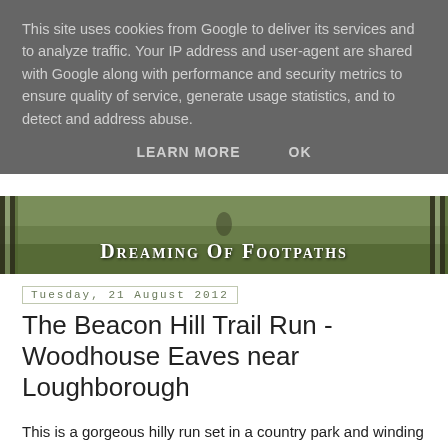This site uses cookies from Google to deliver its services and to analyze traffic. Your IP address and user-agent are shared with Google along with performance and security metrics to ensure quality of service, generate usage statistics, and to detect and address abuse.
LEARN MORE   OK
[Figure (photo): Blog header image showing a trail runner on a footpath in a country park, with the blog title 'Dreaming Of Footpaths' overlaid in white text with small-caps styling on a dark nature background with decorative vertical stripes on the sides.]
Tuesday, 21 August 2012
The Beacon Hill Trail Run - Woodhouse Eaves near Loughborough
This is a gorgeous hilly run set in a country park and winding around the hills. I'm sure there must be a flat part to the run somewhere, but try as I might I can't remember any flat sections at all! It's all steep uphills and windy paths and glorious fast downhills!
The run is set mainly in woods although you come out of